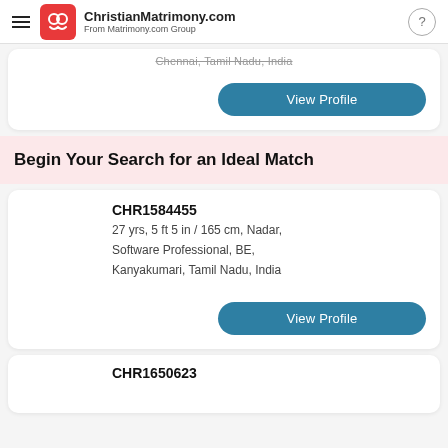ChristianMatrimony.com From Matrimony.com Group
Chennai, Tamil Nadu, India
View Profile
Begin Your Search for an Ideal Match
CHR1584455
27 yrs, 5 ft 5 in / 165 cm, Nadar, Software Professional, BE, Kanyakumari, Tamil Nadu, India
View Profile
CHR1650623